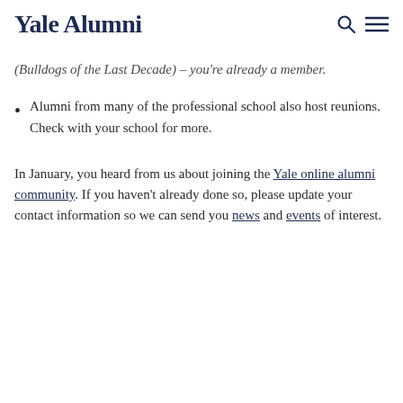Yale Alumni
(Bulldogs of the Last Decade) – you're already a member.
Alumni from many of the professional school also host reunions. Check with your school for more.
In January, you heard from us about joining the Yale online alumni community. If you haven't already done so, please update your contact information so we can send you news and events of interest.